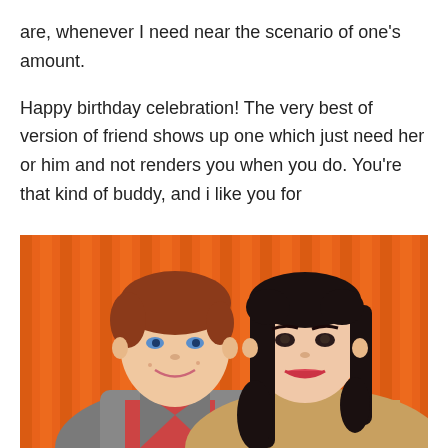are, whenever I need near the scenario of one's amount.

Happy birthday celebration! The very best of version of friend shows up one which just need her or him and not renders you when you do. You're that kind of buddy, and i like you for
[Figure (photo): Two young people smiling together against an orange striped background. A young man with short reddish-brown hair wearing a grey jacket on the left, and a young woman with long dark hair on the right.]